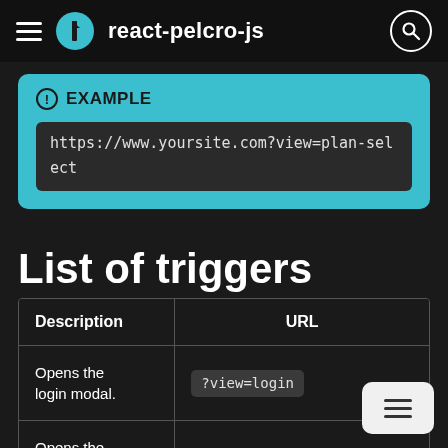react-pelcro-js
EXAMPLE
https://www.yoursite.com?view=plan-select
List of triggers
| Description | URL |
| --- | --- |
| Opens the login modal. | ?view=login |
| Opens the |  |